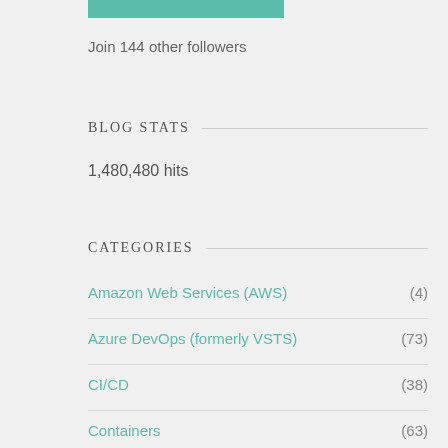[Figure (other): Teal/green colored bar at the top of the sidebar widget]
Join 144 other followers
BLOG STATS
1,480,480 hits
CATEGORIES
Amazon Web Services (AWS) (4)
Azure DevOps (formerly VSTS) (73)
CI/CD (38)
Containers (63)